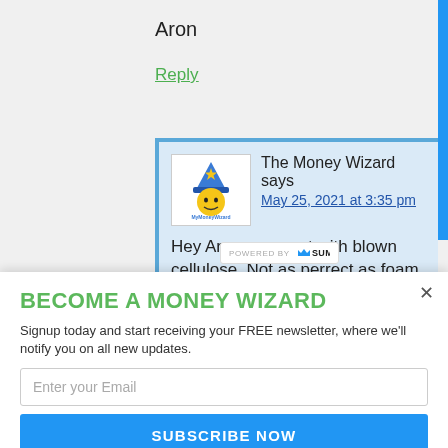Aron
Reply
The Money Wizard says
May 25, 2021 at 3:35 pm
Hey Aron, we went with blown cellulose. Not as perrect as foam,
POWERED BY SUMO
BECOME A MONEY WIZARD
Signup today and start receiving your FREE newsletter, where we'll notify you on all new updates.
Enter your Email
SUBSCRIBE NOW